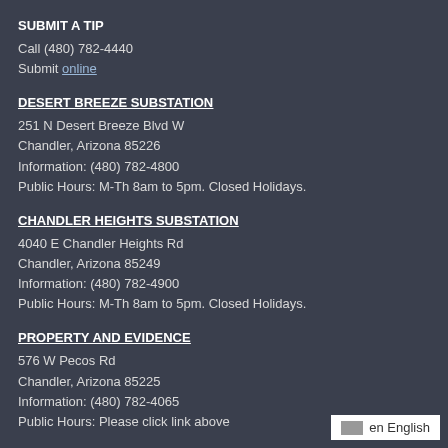SUBMIT A TIP
Call (480) 782-4440
Submit online
DESERT BREEZE SUBSTATION
251 N Desert Breeze Blvd W
Chandler, Arizona 85226
Information: (480) 782-4800
Public Hours: M-Th 8am to 5pm. Closed Holidays.
CHANDLER HEIGHTS SUBSTATION
4040 E Chandler Heights Rd
Chandler, Arizona 85249
Information: (480) 782-4900
Public Hours: M-Th 8am to 5pm. Closed Holidays.
PROPERTY AND EVIDENCE
576 W Pecos Rd
Chandler, Arizona 85225
Information: (480) 782-4065
Public Hours: Please click link above